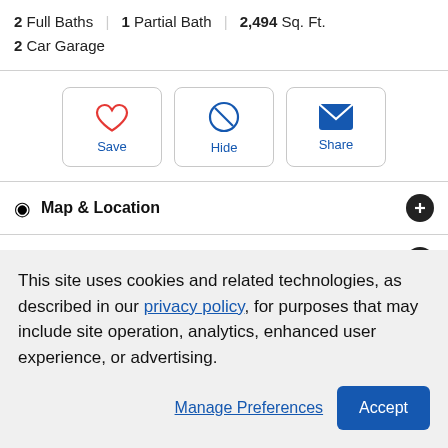2 Full Baths | 1 Partial Bath | 2,494 Sq. Ft.
2 Car Garage
[Figure (infographic): Action buttons: Save (heart icon), Hide (no entry icon), Share (envelope icon)]
Map & Location
Street View
Property Description
This site uses cookies and related technologies, as described in our privacy policy, for purposes that may include site operation, analytics, enhanced user experience, or advertising.
Manage Preferences | Accept